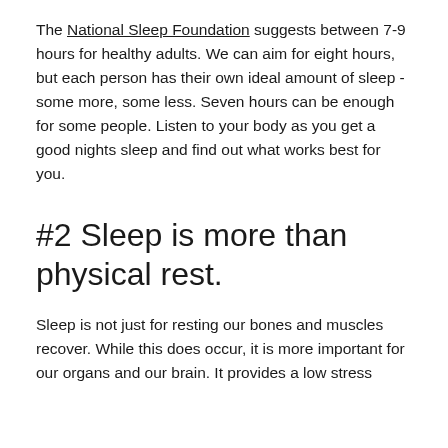The National Sleep Foundation suggests between 7-9 hours for healthy adults. We can aim for eight hours, but each person has their own ideal amount of sleep - some more, some less. Seven hours can be enough for some people. Listen to your body as you get a good nights sleep and find out what works best for you.
#2 Sleep is more than physical rest.
Sleep is not just for resting our bones and muscles recover. While this does occur, it is more important for our organs and our brain. It provides a low stress